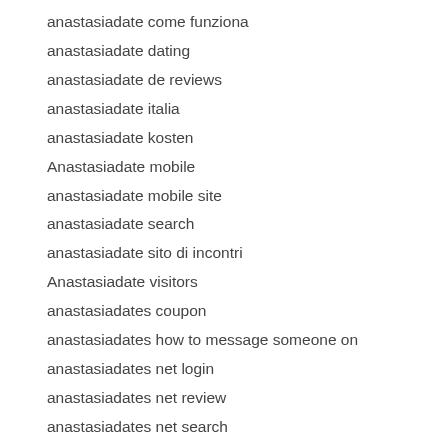anastasiadate come funziona
anastasiadate dating
anastasiadate de reviews
anastasiadate italia
anastasiadate kosten
Anastasiadate mobile
anastasiadate mobile site
anastasiadate search
anastasiadate sito di incontri
Anastasiadate visitors
anastasiadates coupon
anastasiadates how to message someone on
anastasiadates net login
anastasiadates net review
anastasiadates net search